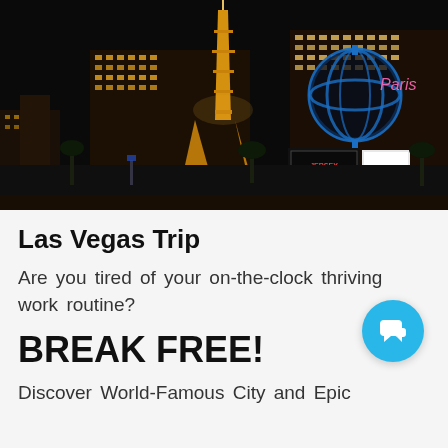[Figure (photo): Night panorama of the Las Vegas Strip showing the Paris Las Vegas Eiffel Tower replica lit in gold, the Paris hotel building, the Bally's globe sign in blue neon, and a Jersey Boys marquee sign. Dark sky backdrop.]
Las Vegas Trip
Are you tired of your on-the-clock thriving work routine?
BREAK FREE!
Discover World-Famous City and Epic